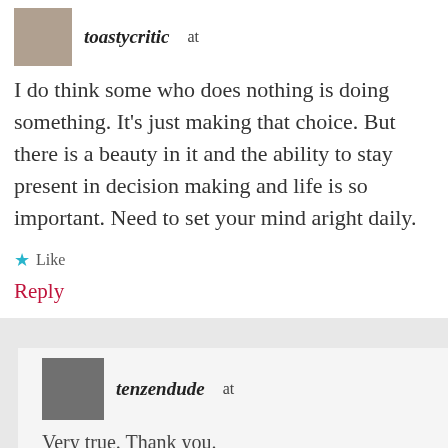toastycritic at
I do think some who does nothing is doing something. It's just making that choice. But there is a beauty in it and the ability to stay present in decision making and life is so important. Need to set your mind aright daily.
★ Like
Reply
tenzendude at
Very true. Thank you.
★ Like
Reply